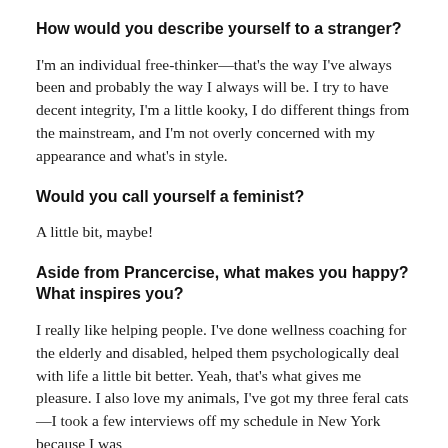How would you describe yourself to a stranger?
I'm an individual free-thinker—that's the way I've always been and probably the way I always will be. I try to have decent integrity, I'm a little kooky, I do different things from the mainstream, and I'm not overly concerned with my appearance and what's in style.
Would you call yourself a feminist?
A little bit, maybe!
Aside from Prancercise, what makes you happy? What inspires you?
I really like helping people. I've done wellness coaching for the elderly and disabled, helped them psychologically deal with life a little bit better. Yeah, that's what gives me pleasure. I also love my animals, I've got my three feral cats—I took a few interviews off my schedule in New York because I was